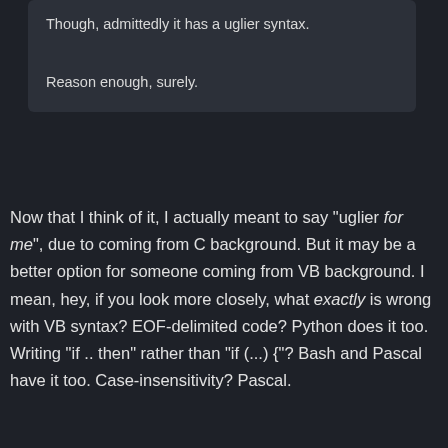Though, admittedly it has a uglier syntax.
Reason enough, surely.
Now that I think of it, I actually meant to say "uglier for me", due to coming from C background. But it may be a better option for someone coming from VB background. I mean, hey, if you look more closely, what exactly is wrong with VB syntax? EOF-delimited code? Python does it too. Writing "if .. then" rather than "if (...) {"? Bash and Pascal have it too. Case-insensitivity? Pascal.